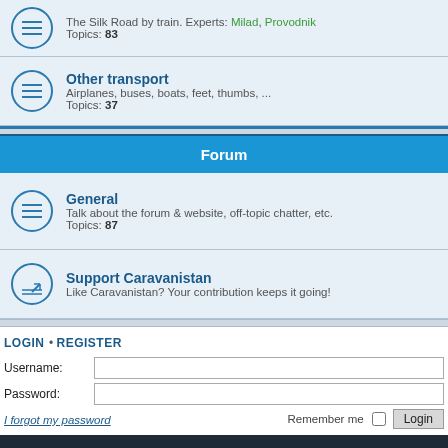The Silk Road by train. Experts: Milad, Provodnik
Topics: 83
Other transport
Airplanes, buses, boats, feet, thumbs, ...
Topics: 37
Forum
General
Talk about the forum & website, off-topic chatter, etc.
Topics: 87
Support Caravanistan
Like Caravanistan? Your contribution keeps it going!
LOGIN • REGISTER
Username:
Password:
I forgot my password
Remember me  Login
Go further, go slower. Experience more.
Travel Guide
Tours & Rental